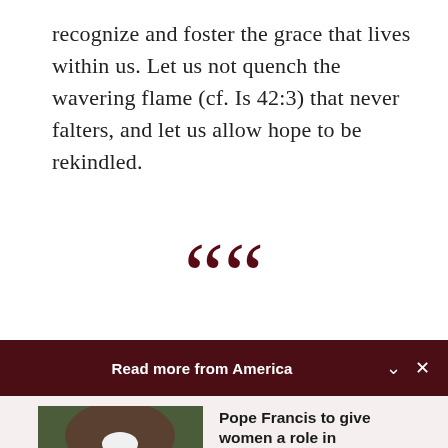recognize and foster the grace that lives within us. Let us not quench the wavering flame (cf. Is 42:3) that never falters, and let us allow hope to be rekindled.
[Figure (illustration): Large decorative open quotation marks in dark red/maroon color, centered on the page]
Read more from America
[Figure (photo): Photo of Pope Francis in white vestments, gesturing with his hand, seated]
Pope Francis to give women a role in choosing... Cindy Wooden - Catholic News Service